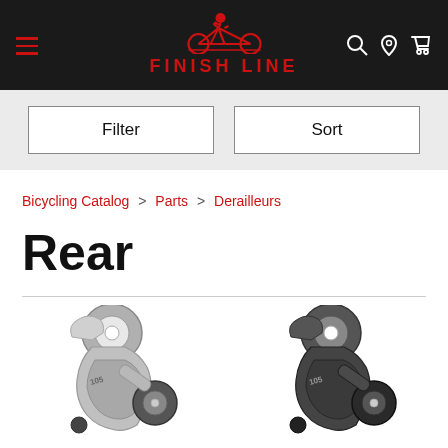[Figure (logo): Finish Line bicycle store logo with red cyclist icon and red 'FINISH LINE' text on black header background]
Filter
Sort
Bicycling Catalog > Parts > Derailleurs
Rear
[Figure (photo): Two bicycle rear derailleurs (Shimano 105) side by side — left one is silver/grey, right one is dark grey/black]
[Figure (photo): Dark grey/black Shimano 105 rear derailleur on right side]